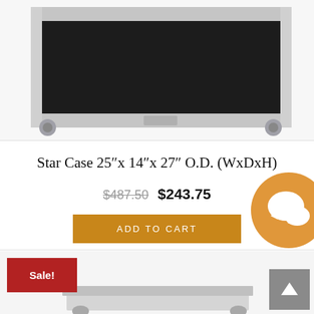[Figure (photo): Close-up photo of a black road case/flight case with silver aluminum extrusion frame, rubber feet/casters visible at the bottom corners, shot against a white background.]
Star Case 25″x 14″x 27″ O.D. (WxDxH)
$487.50 $243.75
ADD TO CART
Sale!
[Figure (photo): Partial photo of another road case/flight case, showing the bottom portion with casters, cropped at the bottom of the page.]